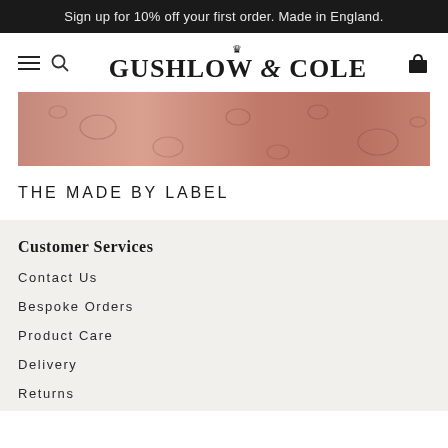Sign up for 10% off your first order. Made in England.
[Figure (logo): Gushlow & Cole brand logo with crown above ampersand]
[Figure (photo): Close-up texture image of pink/rose colored leather with circular bubble-like patterns]
THE MADE BY LABEL
Customer Services
Contact Us
Bespoke Orders
Product Care
Delivery
Returns